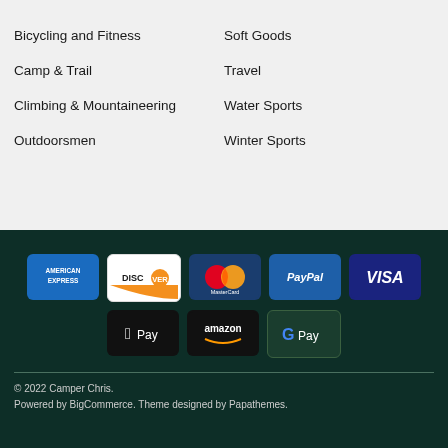Bicycling and Fitness
Soft Goods
Camp & Trail
Travel
Climbing & Mountaineering
Water Sports
Outdoorsmen
Winter Sports
[Figure (logo): Payment method logos: American Express, Discover, MasterCard, PayPal, Visa, Apple Pay, Amazon Pay, Google Pay]
© 2022 Camper Chris.
Powered by BigCommerce. Theme designed by Papathemes.